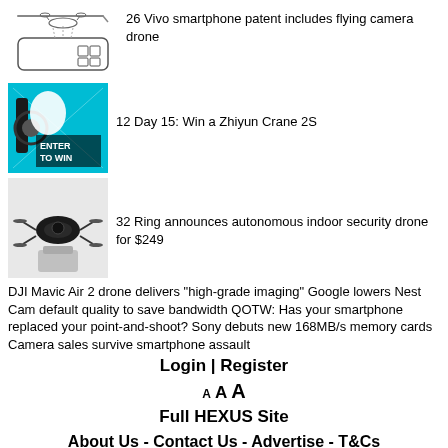[Figure (illustration): Line drawing of a smartphone with a small flying camera drone module detaching from the top]
26 Vivo smartphone patent includes flying camera drone
[Figure (photo): Photo with teal background showing a gimbal/stabilizer with text ENTER TO WIN overlay]
12 Day 15: Win a Zhiyun Crane 2S
[Figure (photo): Photo of a Ring autonomous indoor security drone on a white pedestal]
32 Ring announces autonomous indoor security drone for $249
DJI Mavic Air 2 drone delivers "high-grade imaging" Google lowers Nest Cam default quality to save bandwidth QOTW: Has your smartphone replaced your point-and-shoot? Sony debuts new 168MB/s memory cards Camera sales survive smartphone assault
Login | Register
A A A
Full HEXUS Site
About Us - Contact Us - Advertise - T&Cs
Copyright © 1998 - 2022, HEXUS.net. All rights reserved. HEXUS® is a registered trademark of HEXUS.